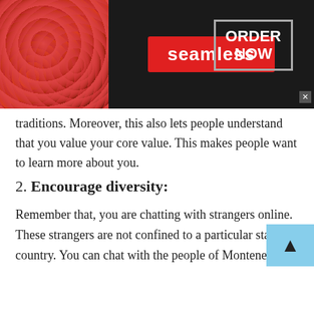[Figure (infographic): Seamless food delivery advertisement banner with pizza image on left, Seamless logo in red, and ORDER NOW button in bordered box on dark background]
traditions. Moreover, this also lets people understand that you value your core value. This makes people want to learn more about you.
2. Encourage diversity:
Remember that, you are chatting with strangers online. These strangers are not confined to a particular state or country. You can chat with the people of Montenegro through this application. Now keep that in mind, that Montenegro is one of the
[Figure (infographic): Bottom advertisement strip with two sponsored content items: '20 Celebrities and Their Real Names You Probably Don't Know!' ad by FillyNews, and '12 Everyday Things to Make Your Skin Prettier in No Time!' ad by FillyNews]